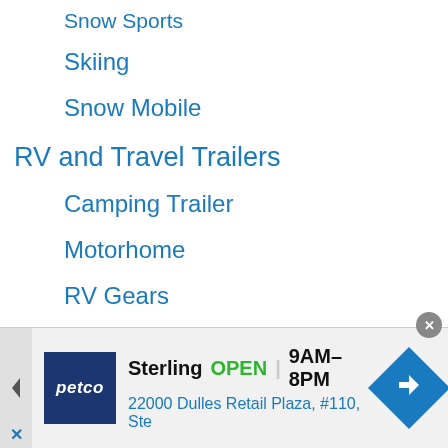Snow Sports
Skiing
Snow Mobile
RV and Travel Trailers
Camping Trailer
Motorhome
RV Gears
RV Travel Trailer Tips and Guide
Septic System
Travel Trailer Reviews
[Figure (infographic): Petco advertisement banner showing Sterling location open 9AM-8PM at 22000 Dulles Retail Plaza, #110, Ste]